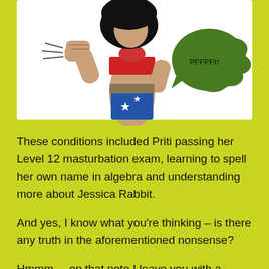[Figure (illustration): Cartoon illustration of a Wonder Woman-like character in a fighting pose with a fist raised, wearing a blue bottom with white stars and a red top, with black hair. A green speech bubble to the right reads 'PFFFFt!']
These conditions included Priti passing her Level 12 masturbation exam, learning to spell her own name in algebra and understanding more about Jessica Rabbit.
And yes, I know what you’re thinking – is there any truth in the aforementioned nonsense?
Hmmm.... on that note I leave you with a